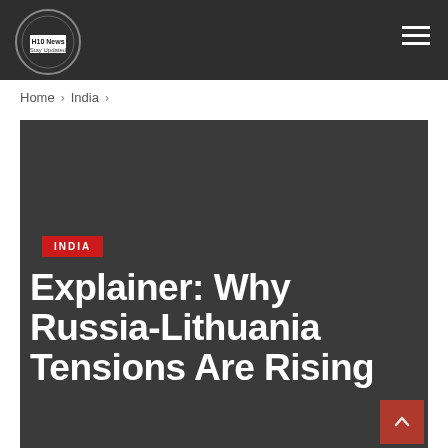H10 News Stay Updated
Home > India >
[Figure (photo): Dark gray hero image background for news article about Russia-Lithuania tensions]
INDIA
Explainer: Why Russia-Lithuania Tensions Are Rising